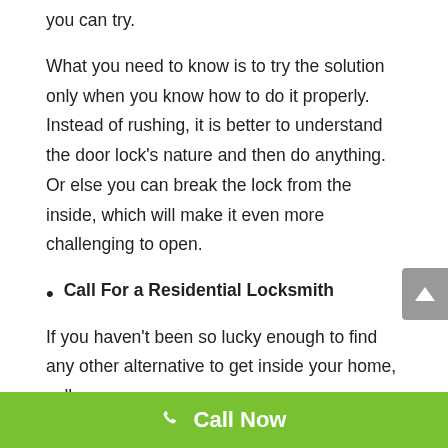you can try.
What you need to know is to try the solution only when you know how to do it properly. Instead of rushing, it is better to understand the door lock’s nature and then do anything. Or else you can break the lock from the inside, which will make it even more challenging to open.
Call For a Residential Locksmith
If you haven’t been so lucky enough to find any other alternative to get inside your home, call a
Call Now